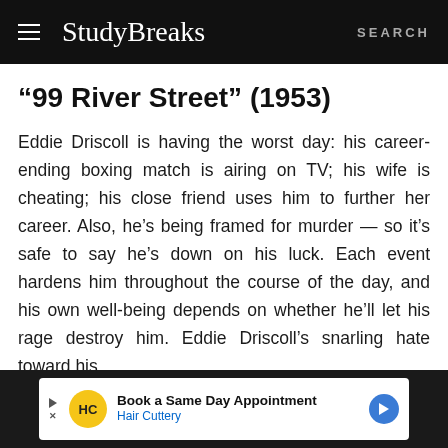StudyBreaks — SEARCH
“99 River Street” (1953)
Eddie Driscoll is having the worst day: his career-ending boxing match is airing on TV; his wife is cheating; his close friend uses him to further her career. Also, he’s being framed for murder — so it’s safe to say he’s down on his luck. Each event hardens him throughout the course of the day, and his own well-being depends on whether he’ll let his rage destroy him. Eddie Driscoll’s snarling hate toward his
[Figure (other): Advertisement banner: Hair Cuttery — Book a Same Day Appointment]